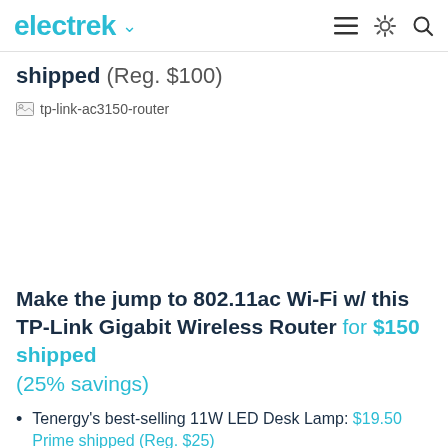electrek
shipped (Reg. $100)
[Figure (photo): Broken image placeholder for tp-link-ac3150-router]
Make the jump to 802.11ac Wi-Fi w/ this TP-Link Gigabit Wireless Router for $150 shipped (25% savings)
Tenergy's best-selling 11W LED Desk Lamp: $19.50 Prime shipped (Reg. $25)